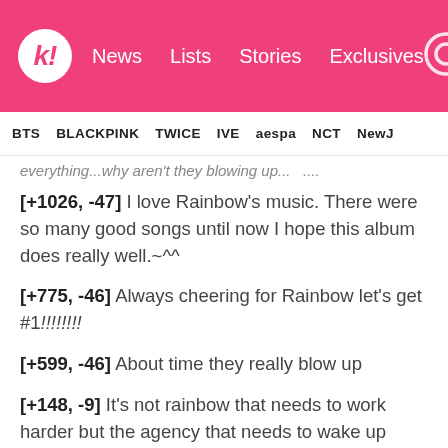koreaboo | News  Lists  Stories  Exclusives
BTS  BLACKPINK  TWICE  IVE  aespa  NCT  NewJ
everything...why aren't they blowing up...  ....
[+1026, -47] I love Rainbow's music. There were so many good songs until now I hope this album does really well.~^^
[+775, -46] Always cheering for Rainbow let's get #1!!!!!!!!
[+599, -46] About time they really blow up
[+148, -9] It's not rainbow that needs to work harder but the agency that needs to wake up